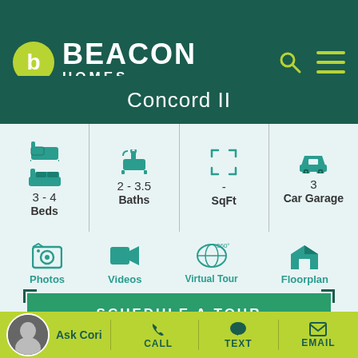[Figure (logo): Beacon Homes logo with green circle containing white 'b' and BEACON HOMES text in white on dark teal background]
Concord II
| Beds | Baths | SqFt | Car Garage |
| --- | --- | --- | --- |
| 3 - 4 | 2 - 3.5 | - | 3 |
[Figure (infographic): Media navigation icons: Photos, Videos, Virtual Tour, Floorplan]
SCHEDULE A TOUR
Ask Cori | CALL | TEXT | EMAIL